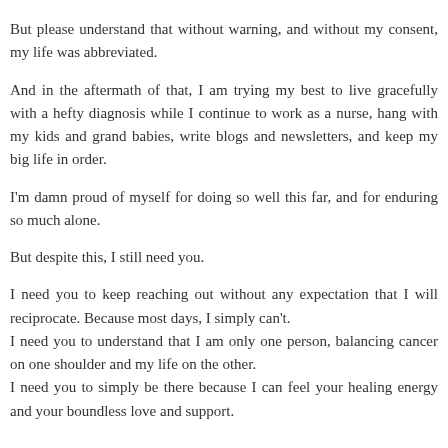But please understand that without warning, and without my consent, my life was abbreviated.
And in the aftermath of that, I am trying my best to live gracefully with a hefty diagnosis while I continue to work as a nurse, hang with my kids and grand babies, write blogs and newsletters, and keep my big life in order.
I'm damn proud of myself for doing so well this far, and for enduring so much alone.
But despite this, I still need you.
I need you to keep reaching out without any expectation that I will reciprocate. Because most days, I simply can't.
I need you to understand that I am only one person, balancing cancer on one shoulder and my life on the other.
I need you to simply be there because I can feel your healing energy and your boundless love and support.